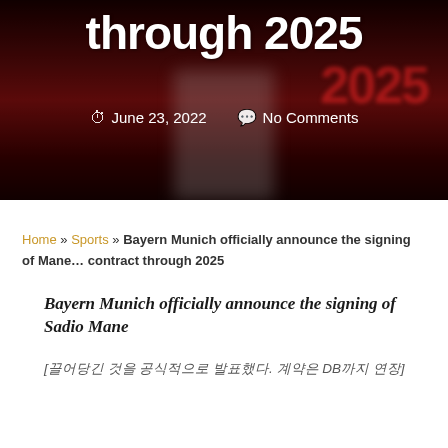[Figure (photo): Hero image with dark red/maroon background showing blurred figure, large white bold text 'through 2025' and date/comment meta information]
through 2025
June 23, 2022   No Comments
Home » Sports » Bayern Munich officially announce the signing of Mane… contract through 2025
Bayern Munich officially announce the signing of Sadio Mane
[끌어당긴 것을 공식적으로 발표했다. 계약은 DB까지 연장]